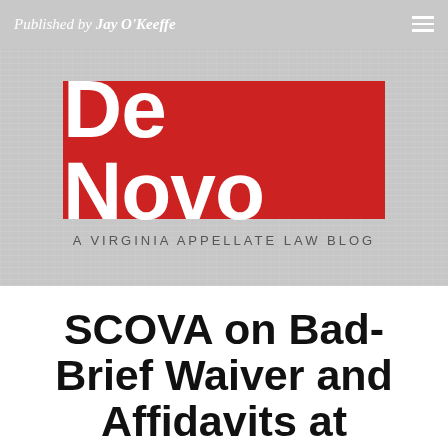Published by Jay O'Keeffe
[Figure (logo): De Novo – A Virginia Appellate Law Blog logo: red rectangle with white bold text 'De Novo', subtitle 'A VIRGINIA APPELLATE LAW BLOG' below on grey textured background]
SCOVA on Bad-Brief Waiver and Affidavits at Summary